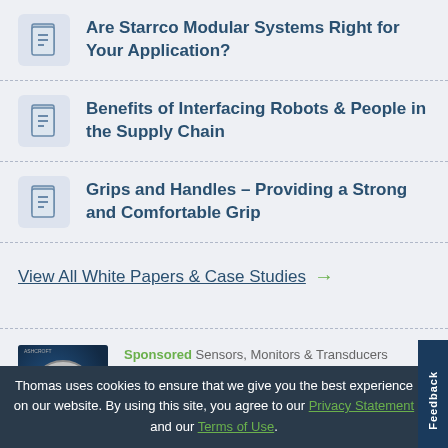Are Starrco Modular Systems Right for Your Application?
Benefits of Interfacing Robots & People in the Supply Chain
Grips and Handles – Providing a Strong and Comfortable Grip
View All White Papers & Case Studies →
[Figure (illustration): Sponsored book cover: Avoid Pressure Equipment Failure with a gauge image]
Sponsored Sensors, Monitors & Transducers
Avoid Pressure Equipment Failure
Thomas uses cookies to ensure that we give you the best experience on our website. By using this site, you agree to our Privacy Statement and our Terms of Use.